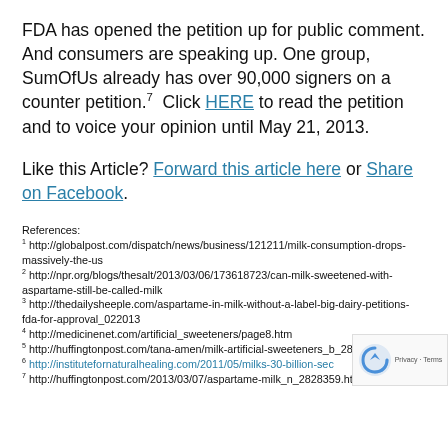FDA has opened the petition up for public comment. And consumers are speaking up. One group, SumOfUs already has over 90,000 signers on a counter petition.7  Click HERE to read the petition and to voice your opinion until May 21, 2013.
Like this Article? Forward this article here or Share on Facebook.
References: 1 http://globalpost.com/dispatch/news/business/121211/milk-consumption-drops-massively-the-us 2 http://npr.org/blogs/thesalt/2013/03/06/173618723/can-milk-sweetened-with-aspartame-still-be-called-milk 3 http://thedailysheeple.com/aspartame-in-milk-without-a-label-big-dairy-petitions-fda-for-approval_022013 4 http://medicinenet.com/artificial_sweeteners/page8.htm 5 http://huffingtonpost.com/tana-amen/milk-artificial-sweeteners_b_2802521.html 6 http://institutefornaturalhealing.com/2011/05/milks-30-billion-sec... 7 http://huffingtonpost.com/2013/03/07/aspartame-milk_n_2828359.html